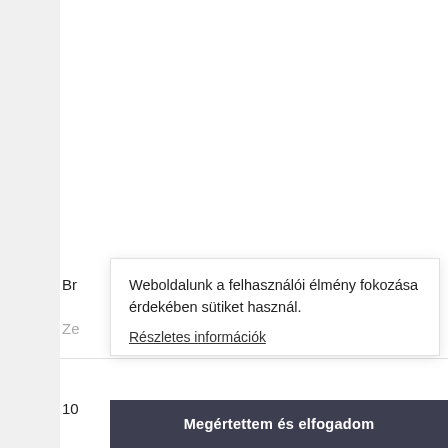[Figure (photo): A hanging hammock chair with wooden spreader bar, black ropes and straps, and dark brown fabric seat, displayed against a light grey background. A semi-transparent watermark reading 'ZEROORVALLA' overlays the image.]
Br
Ze
10
Weboldalunk a felhasználói élmény fokozása érdekében sütiket használ.
Részletes információk
Megértettem és elfogadom